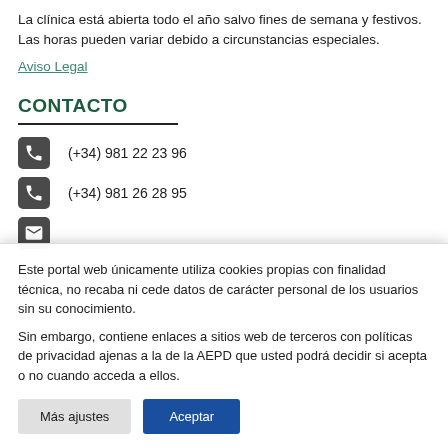La clínica está abierta todo el año salvo fines de semana y festivos. Las horas pueden variar debido a circunstancias especiales.
Aviso Legal
CONTACTO
(+34) 981 22 23 96
(+34) 981 26 28 95
Este portal web únicamente utiliza cookies propias con finalidad técnica, no recaba ni cede datos de carácter personal de los usuarios sin su conocimiento.
Sin embargo, contiene enlaces a sitios web de terceros con políticas de privacidad ajenas a la de la AEPD que usted podrá decidir si acepta o no cuando acceda a ellos.
Más ajustes
Aceptar